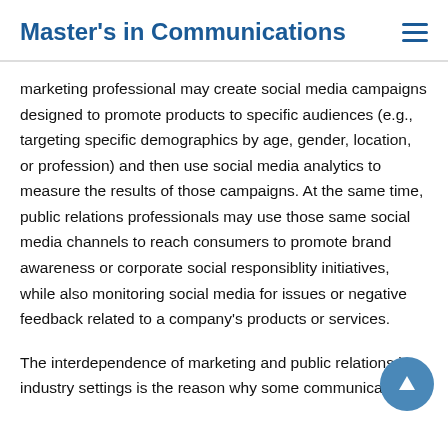Master's in Communications
marketing professional may create social media campaigns designed to promote products to specific audiences (e.g., targeting specific demographics by age, gender, location, or profession) and then use social media analytics to measure the results of those campaigns. At the same time, public relations professionals may use those same social media channels to reach consumers to promote brand awareness or corporate social responsiblity initiatives, while also monitoring social media for issues or negative feedback related to a company's products or services.
The interdependence of marketing and public relations in industry settings is the reason why some communication